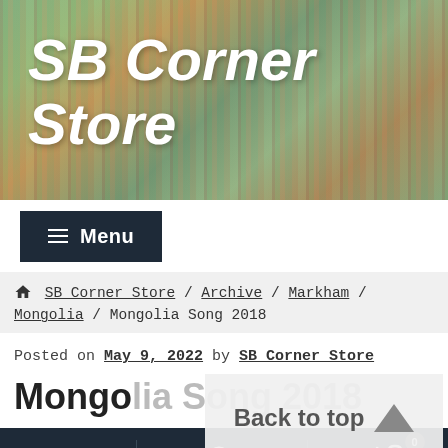[Figure (photo): Header banner showing colorful textile/fabric with vertical stripes in green, brown, orange tones with site title overlaid]
SB Corner Store
Menu
SB Corner Store / Archive / Markham / Mongolia / Mongolia Song 2018
Posted on May 9, 2022 by SB Corner Store
Mongolia Song 2018
Back to top